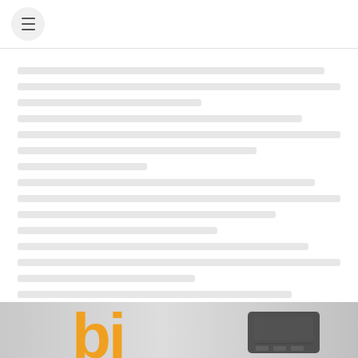[Figure (screenshot): Navigation menu button (hamburger icon) in a rounded square button in the top-left corner of a mobile or web interface]
[Body text content - blurred/redacted lines of article or document text]
[Figure (photo): Bottom strip showing orange stylized letters (possibly 'bi') and a dark rectangular object, likely a phone or calculator, on a light background]